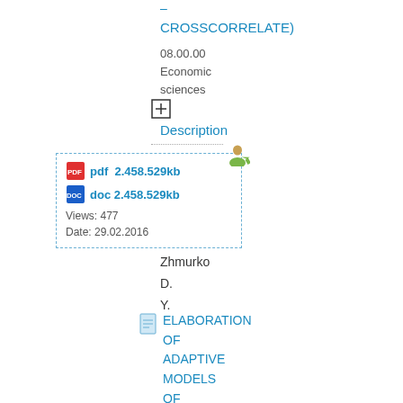– CROSSCORRELATE)
08.00.00
Economic sciences
[Figure (other): Plus/expand icon in a square box]
Description
[Figure (other): File attachment box with pdf 2.458.529kb, doc 2.458.529kb, Views: 477, Date: 29.02.2016, with a person upload icon in top right corner]
Zhmurko D. Y.
ELABORATION OF ADAPTIVE MODELS OF SPECTRAL ANALYSIS WITH APPLICATION OF